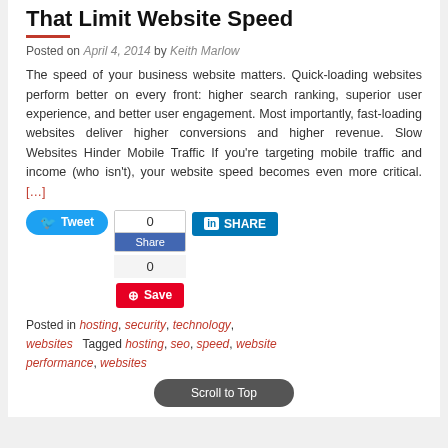That Limit Website Speed
Posted on April 4, 2014 by Keith Marlow
The speed of your business website matters. Quick-loading websites perform better on every front: higher search ranking, superior user experience, and better user engagement. Most importantly, fast-loading websites deliver higher conversions and higher revenue. Slow Websites Hinder Mobile Traffic If you’re targeting mobile traffic and income (who isn’t), your website speed becomes even more critical. […]
[Figure (other): Social sharing buttons: Tweet (Twitter), Facebook share with counts 0 and 0, Pinterest Save, LinkedIn Share]
Posted in hosting, security, technology, websites Tagged hosting, seo, speed, website performance, websites
Scroll to Top